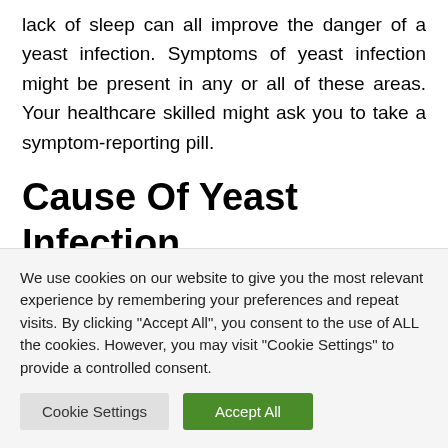lack of sleep can all improve the danger of a yeast infection. Symptoms of yeast infection might be present in any or all of these areas. Your healthcare skilled might ask you to take a symptom-reporting pill.
Cause Of Yeast Infection
What causes a yeast infection? Yeast infections can take place on any surface in the body, in the penis for the vagina. Generally they usually do not spread in between
We use cookies on our website to give you the most relevant experience by remembering your preferences and repeat visits. By clicking "Accept All", you consent to the use of ALL the cookies. However, you may visit "Cookie Settings" to provide a controlled consent.